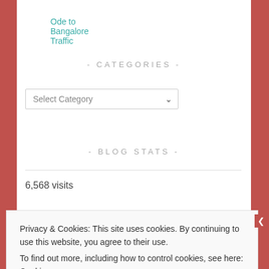Ode to Bangalore Traffic
- CATEGORIES -
Select Category
- BLOG STATS -
6,568 visits
Privacy & Cookies: This site uses cookies. By continuing to use this website, you agree to their use.
To find out more, including how to control cookies, see here: Cookie Policy
Close and accept